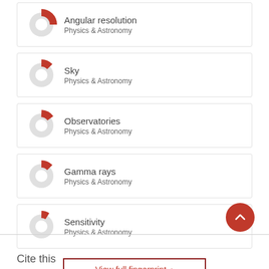Angular resolution
Physics & Astronomy
Sky
Physics & Astronomy
Observatories
Physics & Astronomy
Gamma rays
Physics & Astronomy
Sensitivity
Physics & Astronomy
View full fingerprint >
Cite this